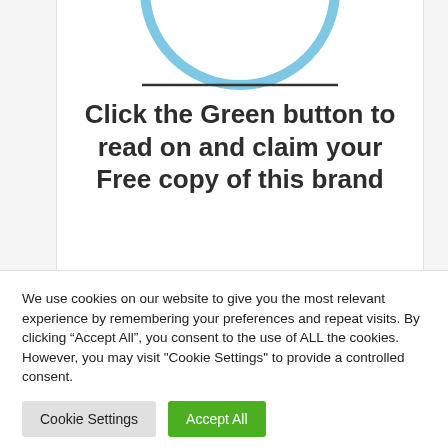[Figure (illustration): Partial illustration showing bottom of a circular badge with a light blue border containing a cartoon character, with a horizontal dividing line below it]
Click the Green button to read on and claim your Free copy of this brand
We use cookies on our website to give you the most relevant experience by remembering your preferences and repeat visits. By clicking “Accept All”, you consent to the use of ALL the cookies. However, you may visit "Cookie Settings" to provide a controlled consent.